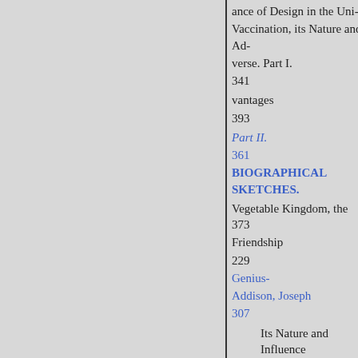ance of Design in the Uni-
Vaccination, its Nature and Ad-
verse. Part I.
341
vantages
393
Part II.
361
BIOGRAPHICAL SKETCHES.
Vegetable Kingdom, the 373
Friendship
229
Genius-
Addison, Joseph
307
Its Nature and Influence
305 | Ariste
68